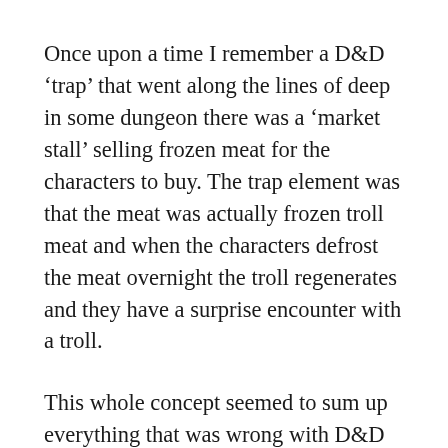Once upon a time I remember a D&D ‘trap’ that went along the lines of deep in some dungeon there was a ‘market stall’ selling frozen meat for the characters to buy. The trap element was that the meat was actually frozen troll meat and when the characters defrost the meat overnight the troll regenerates and they have a surprise encounter with a troll.
This whole concept seemed to sum up everything that was wrong with D&D in the 1980s. Why would there be a market stall in a dungeon, why would the characters buy rations from anyone who thought that this was a good place to sell food and so on. There is so much